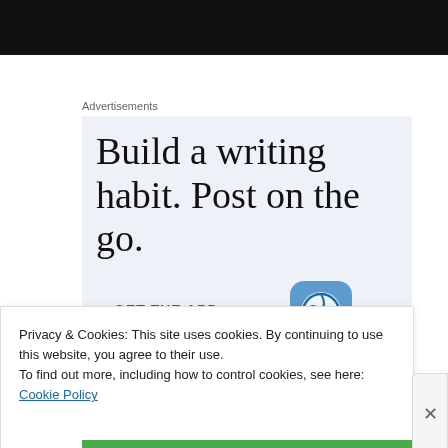[Figure (other): Black header bar at top of page]
Advertisements
[Figure (infographic): Advertisement with light blue background. Large serif text reads: 'Build a writing habit. Post on the go.' Blue link text 'GET THE APP' and WordPress logo icon visible at bottom.]
Privacy & Cookies: This site uses cookies. By continuing to use this website, you agree to their use.
To find out more, including how to control cookies, see here: Cookie Policy
Close and accept